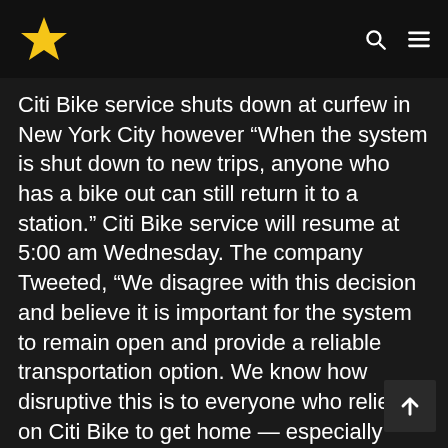[Star logo] [Search icon] [Menu icon]
Citi Bike service shuts down at curfew in New York City however “When the system is shut down to new trips, anyone who has a bike out can still return it to a station.” Citi Bike service will resume at 5:00 am Wednesday. The company Tweeted, “We disagree with this decision and believe it is important for the system to remain open and provide a reliable transportation option. We know how disruptive this is to everyone who relies on Citi Bike to get home — especially essential workers.”
Food delivery service DoorDash also suspended deliveries during curfews.